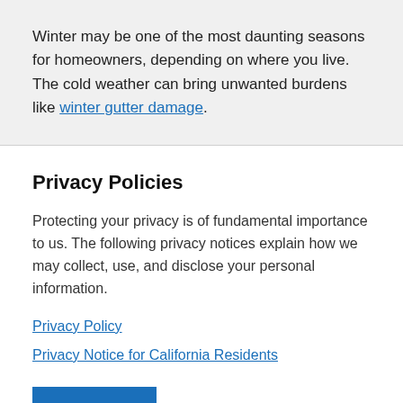Winter may be one of the most daunting seasons for homeowners, depending on where you live. The cold weather can bring unwanted burdens like winter gutter damage.
Privacy Policies
Protecting your privacy is of fundamental importance to us. The following privacy notices explain how we may collect, use, and disclose your personal information.
Privacy Policy
Privacy Notice for California Residents